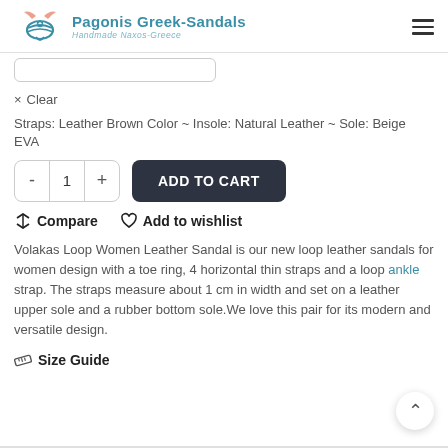Pagonis Greek-Sandals | Handmade Naxos-Greece
× Clear
Straps: Leather Brown Color ~ Insole: Natural Leather ~ Sole: Beige EVA
- 1 + ADD TO CART
Compare  Add to wishlist
Volakas Loop Women Leather Sandal is our new loop leather sandals for women design with a toe ring, 4 horizontal thin straps and a loop ankle strap. The straps measure about 1 cm in width and set on a leather upper sole and a rubber bottom sole.We love this pair for its modern and versatile design.
Size Guide